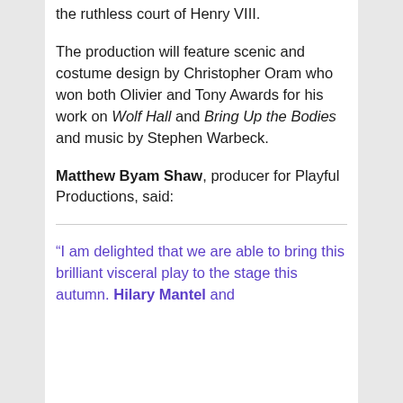the ruthless court of Henry VIII.
The production will feature scenic and costume design by Christopher Oram who won both Olivier and Tony Awards for his work on Wolf Hall and Bring Up the Bodies and music by Stephen Warbeck.
Matthew Byam Shaw, producer for Playful Productions, said:
“I am delighted that we are able to bring this brilliant visceral play to the stage this autumn. Hilary Mantel and